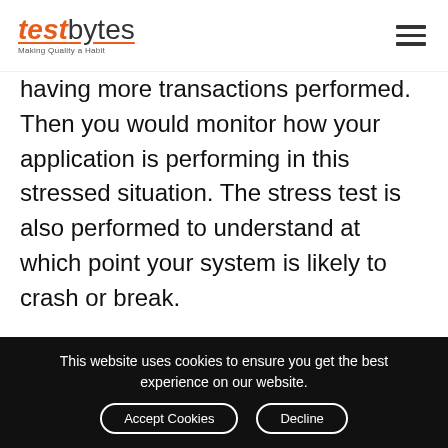testbytes - Making Quality a Habit
having more transactions performed. Then you would monitor how your application is performing in this stressed situation. The stress test is also performed to understand at which point your system is likely to crash or break.
[Figure (illustration): Arrow pointing upward with 'Stress Test' label to the right]
This website uses cookies to ensure you get the best experience on our website.
Accept Cookies   Decline